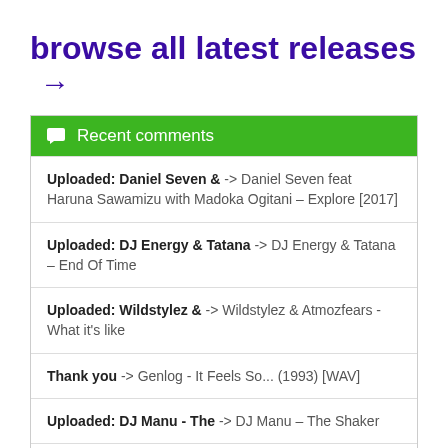browse all latest releases →
Recent comments
Uploaded: Daniel Seven & -> Daniel Seven feat Haruna Sawamizu with Madoka Ogitani – Explore [2017]
Uploaded: DJ Energy & Tatana -> DJ Energy & Tatana – End Of Time
Uploaded: Wildstylez & -> Wildstylez & Atmozfears - What it's like
Thank you -> Genlog - It Feels So... (1993) [WAV]
Uploaded: DJ Manu - The -> DJ Manu – The Shaker
Uploaded: VA - Our Message -> Our Message For The Future Album